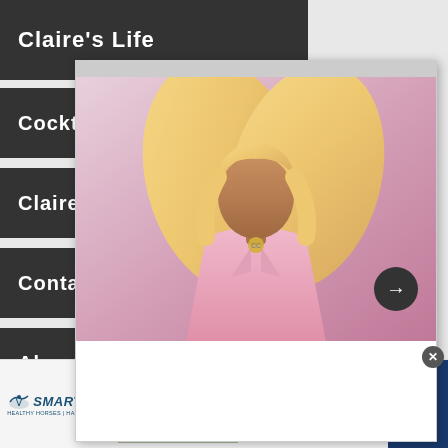Claire's Life
Cocktails
Claire Ca
Contact
About
[Figure (photo): A woman with long wavy blonde/pink hair wearing a pink jacket and Chanel necklace, posing in a popup/modal overlay on a website]
[Figure (infographic): SmartPak advertisement banner: 50% Off Two Months of ColiCare, ColiCare Eligible Supplements, CODE: COLICARE10, with SmartPak logo, horse and person photo, and product image. Shop Now button.]